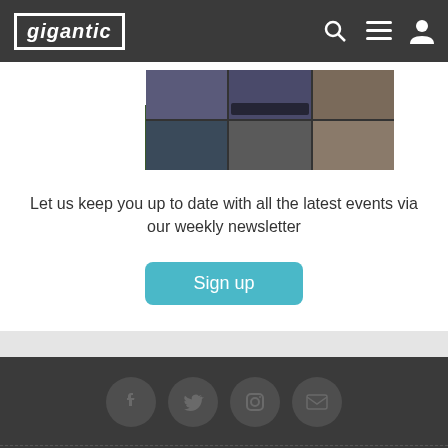gigantic
[Figure (screenshot): Partial screenshot of a website or app showing a grid of event/game images]
Let us keep you up to date with all the latest events via our weekly newsletter
[Figure (other): Sign up button - teal rounded button]
[Figure (other): Social media icons row: Facebook, Twitter, Instagram, Email on dark background]
Information
Popular Events